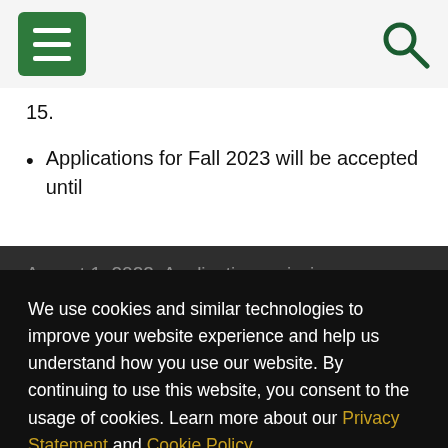Navigation bar with hamburger menu and search icon
15.
Applications for Fall 2023 will be accepted until
August 1, 2023. Applications missing documents after August 1 will be considered for Spring...
Spring 2024 applications will begin on December...
Summer 2024 applications... February 1...
We use cookies and similar technologies to improve your website experience and help us understand how you use our website. By continuing to use this website, you consent to the usage of cookies. Learn more about our Privacy Statement and Cookie Policy.
Agree
Decline Non-Essential Cookies